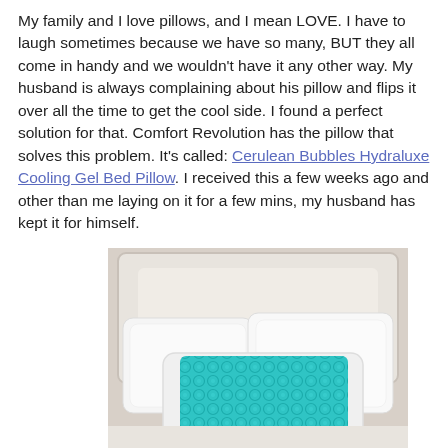My family and I love pillows, and I mean LOVE. I have to laugh sometimes because we have so many, BUT they all come in handy and we wouldn't have it any other way. My husband is always complaining about his pillow and flips it over all the time to get the cool side. I found a perfect solution for that. Comfort Revolution has the pillow that solves this problem. It's called: Cerulean Bubbles Hydraluxe Cooling Gel Bed Pillow. I received this a few weeks ago and other than me laying on it for a few mins, my husband has kept it for himself.
[Figure (photo): A white cooling gel bed pillow with a teal/turquoise gel bubble panel on top, propped against white pillows on a bed with a white headboard.]